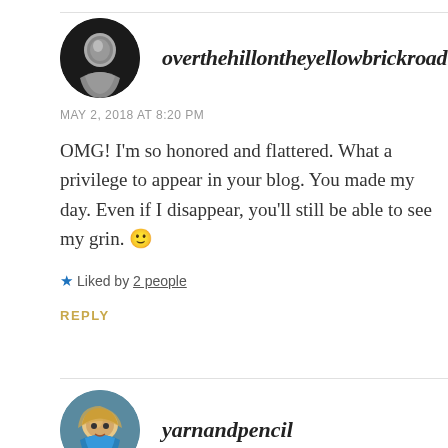overthehillontheyellowbrickroad
MAY 2, 2018 AT 8:20 PM
OMG! I'm so honored and flattered. What a privilege to appear in your blog. You made my day. Even if I disappear, you'll still be able to see my grin. 🙂
Liked by 2 people
REPLY
yarnandpencil